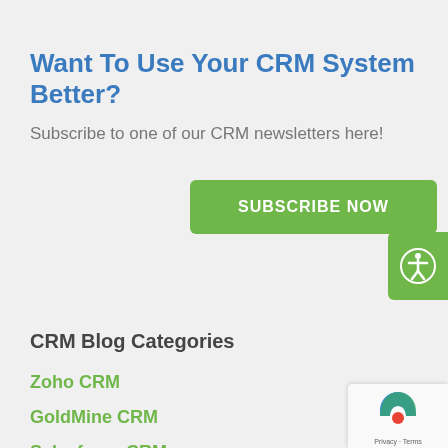Want To Use Your CRM System Better?
Subscribe to one of our CRM newsletters here!
[Figure (other): Green 'SUBSCRIBE NOW' button]
CRM Blog Categories
Zoho CRM
GoldMine CRM
Salesforce CRM
Microsoft Dynamics CRM